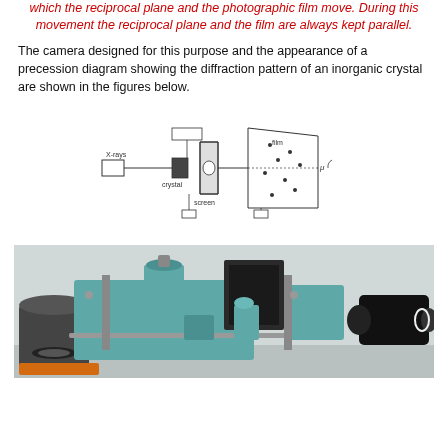which the reciprocal plane and the photographic film move. During this movement the reciprocal plane and the film are always kept parallel.
The camera designed for this purpose and the appearance of a precession diagram showing the diffraction pattern of an inorganic crystal are shown in the figures below.
[Figure (schematic): Schematic diagram of a precession camera showing X-rays, crystal, screen, film, and angle mu labeled with arrows indicating the geometry of the setup.]
[Figure (photo): Photograph of a precession camera instrument, teal/turquoise colored mechanical device with various components including lenses, goniometer head, and film holder.]